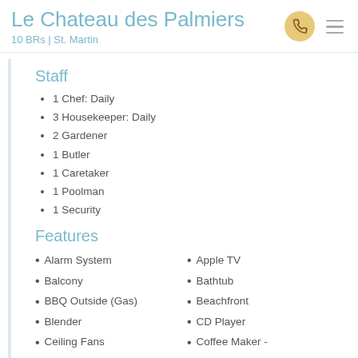Le Chateau des Palmiers
10 BRs | St. Martin
Staff
1 Chef: Daily
3 Housekeeper: Daily
2 Gardener
1 Butler
1 Caretaker
1 Poolman
1 Security
Features
Alarm System
Apple TV
Balcony
Bathtub
BBQ Outside (Gas)
Beachfront
Blender
CD Player
Ceiling Fans
Coffee Maker -